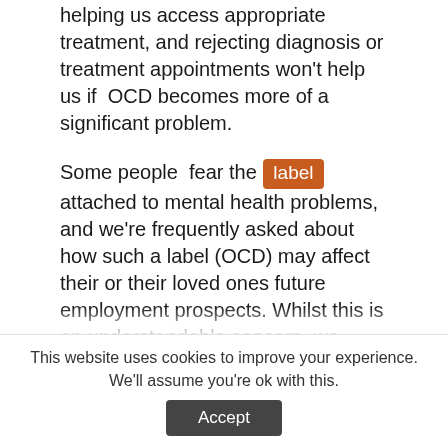helping us access appropriate treatment, and rejecting diagnosis or treatment appointments won't help us if OCD becomes more of a significant problem.
Some people fear the [label] attached to mental health problems, and we're frequently asked about how such a label (OCD) may affect their or their loved ones future employment prospects. Whilst this is an understandable concern, we generally advise people not to let a future potential problem (which is not yet a problem, and may never become a problem) prevent them from seeking treatment for something that does exist in the here and now. We encourage people to focus on
This website uses cookies to improve your experience. We'll assume you're ok with this. Accept